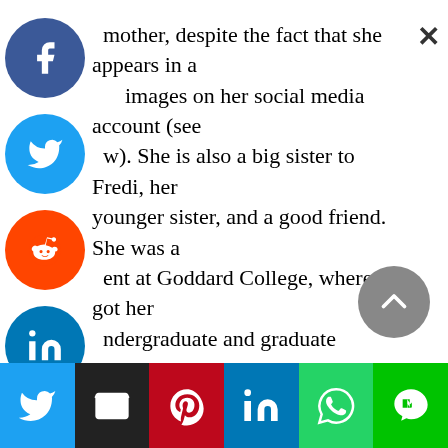mother, despite the fact that she appears in a few images on her social media account (see below). She is also a big sister to Fredi, her younger sister, and a good friend. She was a student at Goddard College, where she got her undergraduate and graduate degrees. She is currently engaged to be married to a man named Morris Reiser, whom she met through a common friend and fell in love with right away. Her boyfriend is a singer, writer, and teacher from the New York borough of Brooklyn, and they met...
[Figure (infographic): Social media share sidebar with Facebook, Twitter, Reddit, LinkedIn, Pinterest, MerrittWerks, and orange share icons stacked vertically on the left side]
[Figure (infographic): Bottom share bar with Twitter, Email, Pinterest, LinkedIn, WhatsApp, and Line buttons]